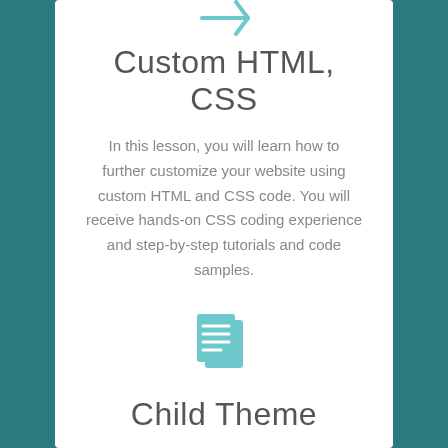[Figure (illustration): Teal arrow/cursor icon pointing left at top of first card]
Custom HTML, CSS
In this lesson, you will learn how to further customize your website using custom HTML and CSS code. You will receive hands-on CSS coding experience and step-by-step tutorials and code samples.
Topics: HTML, CSS
[Figure (illustration): Teal document/pages icon at top of second card]
Child Theme
In this lesson, you will learn how to create a WordPress child theme to be able to fully...